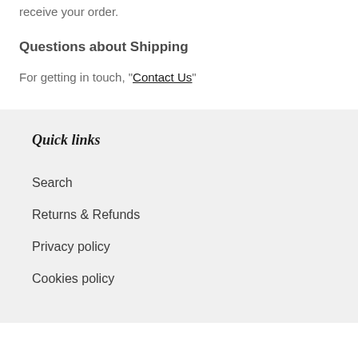receive your order.
Questions about Shipping
For getting in touch, "Contact Us"
Quick links
Search
Returns & Refunds
Privacy policy
Cookies policy